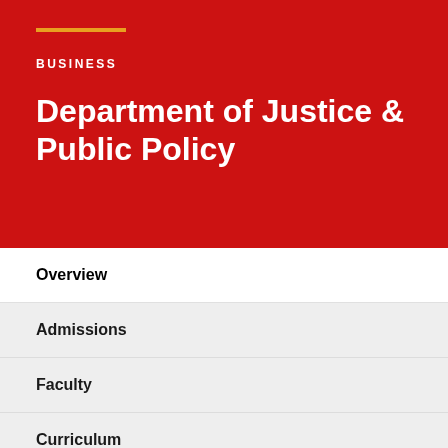BUSINESS
Department of Justice & Public Policy
Overview
Admissions
Faculty
Curriculum